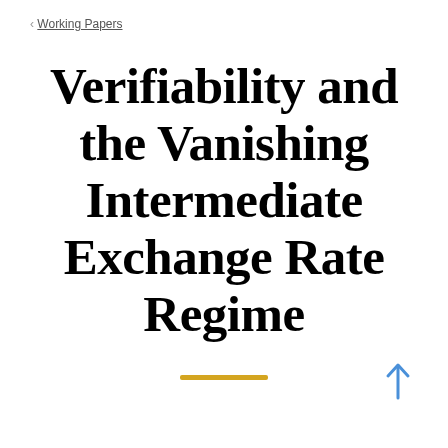< Working Papers
Verifiability and the Vanishing Intermediate Exchange Rate Regime